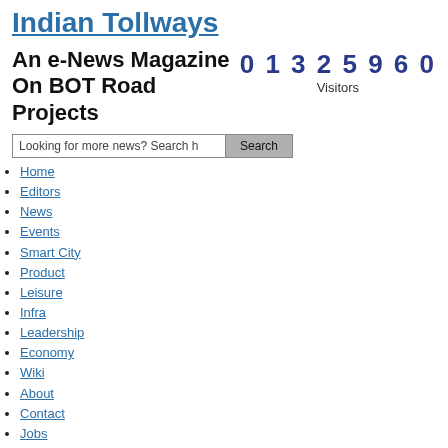Indian Tollways
An e-News Magazine On BOT Road Projects
0 1 3 2 5 9 6 0 Visitors
Looking for more news? Search here  Search
Home
Editors
News
Events
Smart City
Product
Leisure
Infra
Leadership
Economy
Wiki
About
Contact
Jobs
Browse ›› Home › BOT, EPC, Sabdhav Engineering › 8 projects operational, co may securitise assets: Sadbhav
8 projects operational, co may